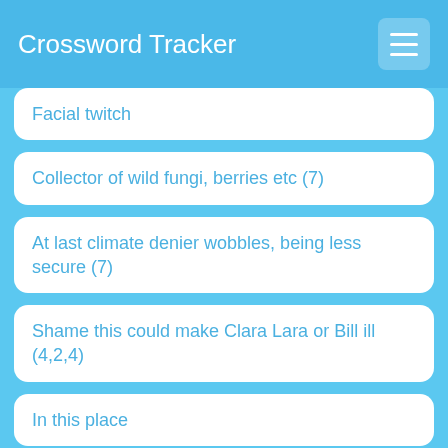Crossword Tracker
Facial twitch
Collector of wild fungi, berries etc (7)
At last climate denier wobbles, being less secure (7)
Shame this could make Clara Lara or Bill ill (4,2,4)
In this place
Northern sea duck
Riverside plant
A foreign affair involving drugs is not sensible!